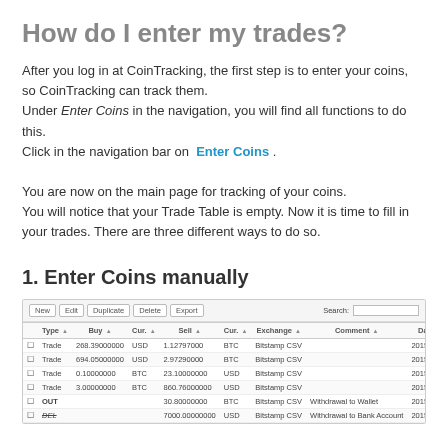How do I enter my trades?
After you log in at CoinTracking, the first step is to enter your coins, so CoinTracking can track them.
Under Enter Coins in the navigation, you will find all functions to do this.
Click in the navigation bar on  Enter Coins .
You are now on the main page for tracking of your coins.
You will notice that your Trade Table is empty. Now it is time to fill in your trades. There are three different ways to do so.
1. Enter Coins manually
[Figure (screenshot): Screenshot of the Enter Coins trade table with toolbar buttons (New, Edit, Duplicate, Delete, Export) and Search field, showing columns: Type, Buy, Cur., Sell, Cur., Exchange, Comment, Date. Rows include Trade and OUT/DEL entries with Bitstamp CSV data.]